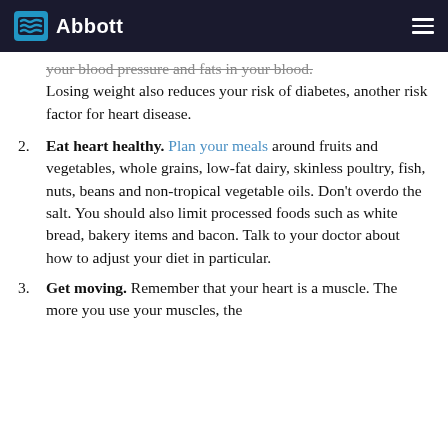Abbott
your blood pressure and fats in your blood. Losing weight also reduces your risk of diabetes, another risk factor for heart disease.
2. Eat heart healthy. Plan your meals around fruits and vegetables, whole grains, low-fat dairy, skinless poultry, fish, nuts, beans and non-tropical vegetable oils. Don't overdo the salt. You should also limit processed foods such as white bread, bakery items and bacon. Talk to your doctor about how to adjust your diet in particular.
3. Get moving. Remember that your heart is a muscle. The more you use your muscles, the